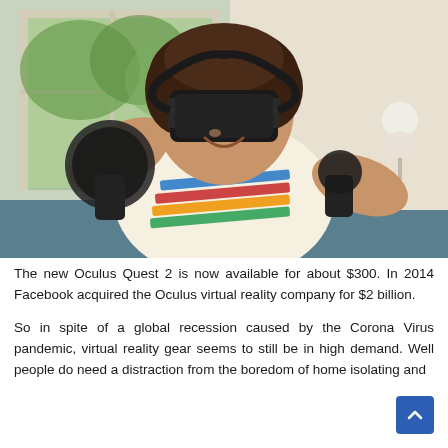[Figure (photo): A smiling woman wearing a black VR headset and holding two VR controllers, wearing a colorful striped shirt, in a bright indoor room.]
The new Oculus Quest 2 is now available for about $300. In 2014 Facebook acquired the Oculus virtual reality company for $2 billion.
So in spite of a global recession caused by the Corona Virus pandemic, virtual reality gear seems to still be in high demand. Well people do need a distraction from the boredom of home isolating and